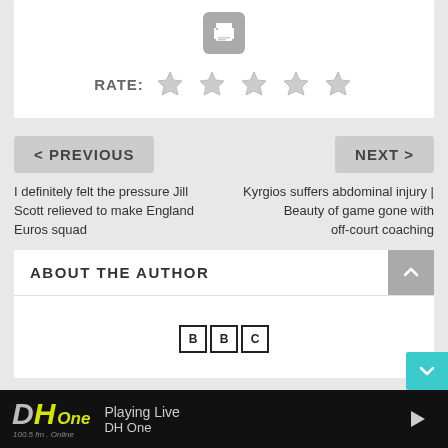[Figure (other): Print icon button in a rounded rectangle, gray background]
RATE: ☆ ☆ ☆ ☆ ☆
< PREVIOUS
NEXT >
I definitely felt the pressure Jill Scott relieved to make England Euros squad
Kyrgios suffers abdominal injury | Beauty of game gone with off-court coaching
ABOUT THE AUTHOR
[Figure (logo): BBC logo with three boxes]
DH One 100.5 fm . Online   Playing Live DH One